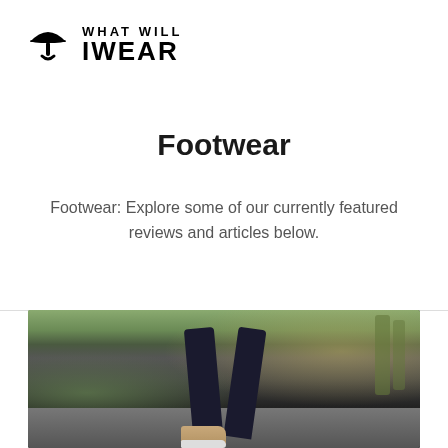[Figure (logo): What Will I Wear logo — black umbrella/figure icon with bold uppercase text 'WHAT WILL' on top line and large 'IWEAR' on bottom line]
Footwear
Footwear: Explore some of our currently featured reviews and articles below.
[Figure (photo): Close-up photo of a runner's legs and running shoes (gray/white sneakers with orange accent) from behind, on a road, with green trees blurred in the background.]